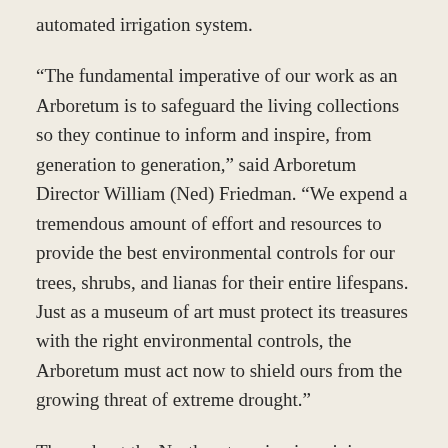automated irrigation system.
“The fundamental imperative of our work as an Arboretum is to safeguard the living collections so they continue to inform and inspire, from generation to generation,” said Arboretum Director William (Ned) Friedman. “We expend a tremendous amount of effort and resources to provide the best environmental controls for our trees, shrubs, and lianas for their entire lifespans. Just as a museum of art must protect its treasures with the right environmental controls, the Arboretum must act now to shield ours from the growing threat of extreme drought.”
Throughout the Northeast, spring is arriving earlier and bringing more precipitation, though our summers are trending hotter and drier—a warning shot being the brutal summer of 2016, the hottest and driest yet recorded in Boston. Among the collections hardest hit that season